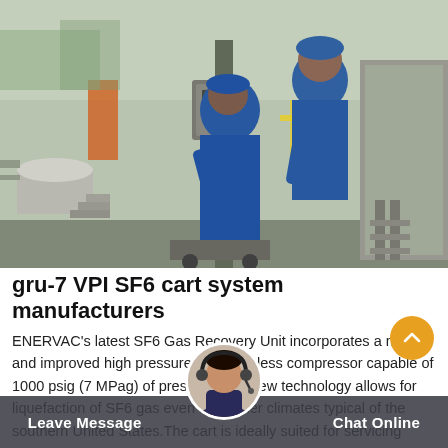[Figure (photo): Two workers in blue coveralls and safety vests working on industrial SF6 gas recovery equipment outdoors at a facility with transformers and pipes]
gru-7 VPI SF6 cart system manufacturers
ENERVAC's latest SF6 Gas Recovery Unit incorporates a new and improved high pressure,totally oil-less compressor capable of 1000 psig (7 MPag) of pressure.This new technology allows for liquefaction of SF6 gas even in warmer climates typical of the southern United States.The cart is ideally suited for servicing
Leave Message
Chat Online